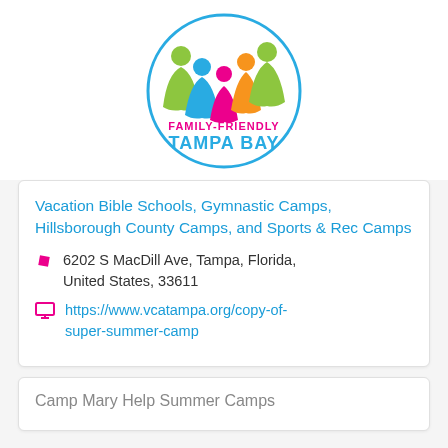[Figure (logo): Family-Friendly Tampa Bay logo: colorful figures of people inside a blue circle, with text 'FAMILY-FRIENDLY' in pink and 'TAMPA BAY' in blue]
Vacation Bible Schools, Gymnastic Camps, Hillsborough County Camps, and Sports & Rec Camps
6202 S MacDill Ave, Tampa, Florida, United States, 33611
https://www.vcatampa.org/copy-of-super-summer-camp
Camp Mary Help Summer Camps